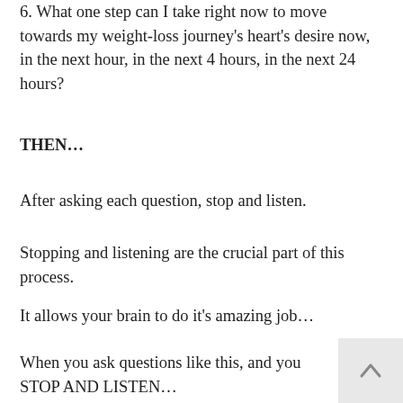6. What one step can I take right now to move towards my weight-loss journey’s heart’s desire now, in the next hour, in the next 4 hours, in the next 24 hours?
THEN…
After asking each question, stop and listen.
Stopping and listening are the crucial part of this process.
It allows your brain to do it’s amazing job…
When you ask questions like this, and you STOP AND LISTEN…